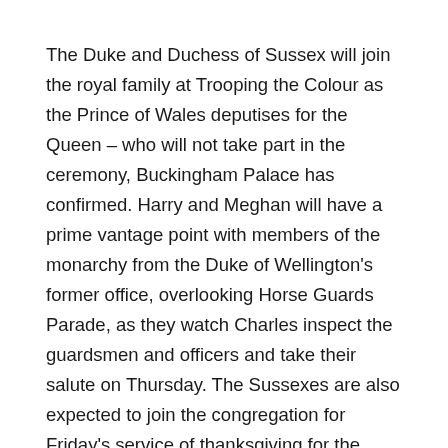The Duke and Duchess of Sussex will join the royal family at Trooping the Colour as the Prince of Wales deputises for the Queen – who will not take part in the ceremony, Buckingham Palace has confirmed. Harry and Meghan will have a prime vantage point with members of the monarchy from the Duke of Wellington's former office, overlooking Horse Guards Parade, as they watch Charles inspect the guardsmen and officers and take their salute on Thursday. The Sussexes are also expected to join the congregation for Friday's service of thanksgiving for the Queen's 70-year reign at St Paul's Cathedral, but their participation with Trooping is an added element.
They are travelling with their children, three-year-old Archie and Lilibet who turns one on Saturday, and their visit to mark the Queen's Platinum Jubilee has sparked rumours the